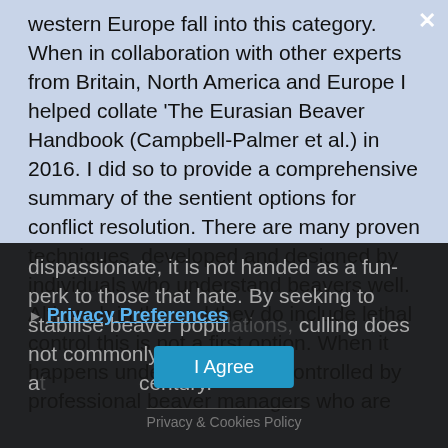western Europe fall into this category. When in collaboration with other experts from Britain, North America and Europe I helped collate 'The Eurasian Beaver Handbook (Campbell-Palmer et al.) in 2016. I did so to provide a comprehensive summary of the sentient options for conflict resolution. There are many proven techniques, developed and designed by individuals who understand beavers well. Although in the end they do include lethal control this is not a first option. When it happens under licence it is controlled by professional beaver managers who are dispassionate, it is not handed as a fun-perk to those that hate. By seeking to stabilise beaver populations, culling does not commonly happen at scale over a century.
[Figure (screenshot): Dark semi-transparent overlay popup with close (X) button, 'Privacy Preferences' link, 'I Agree' button in blue, and 'Privacy & Cookies Policy' footer text.]